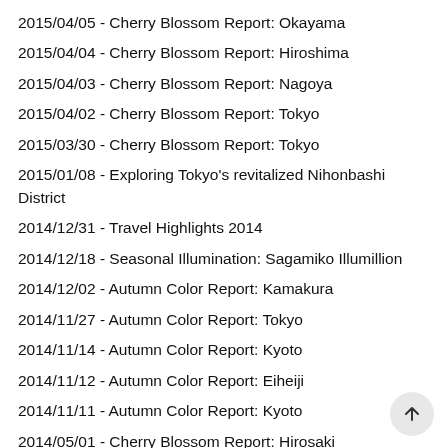2015/04/05 - Cherry Blossom Report: Okayama
2015/04/04 - Cherry Blossom Report: Hiroshima
2015/04/03 - Cherry Blossom Report: Nagoya
2015/04/02 - Cherry Blossom Report: Tokyo
2015/03/30 - Cherry Blossom Report: Tokyo
2015/01/08 - Exploring Tokyo's revitalized Nihonbashi District
2014/12/31 - Travel Highlights 2014
2014/12/18 - Seasonal Illumination: Sagamiko Illumillion
2014/12/02 - Autumn Color Report: Kamakura
2014/11/27 - Autumn Color Report: Tokyo
2014/11/14 - Autumn Color Report: Kyoto
2014/11/12 - Autumn Color Report: Eiheiji
2014/11/11 - Autumn Color Report: Kyoto
2014/05/01 - Cherry Blossom Report: Hirosaki
2014/04/30 - Cherry Blossom Report: Kakunodate
2014/04/19 - Cherry Blossom Report: Matsushima
2014/04/16 - Cherry Blossom Report: Sendai
2014/04/15 - Cherry Blossom Report: Fukushima